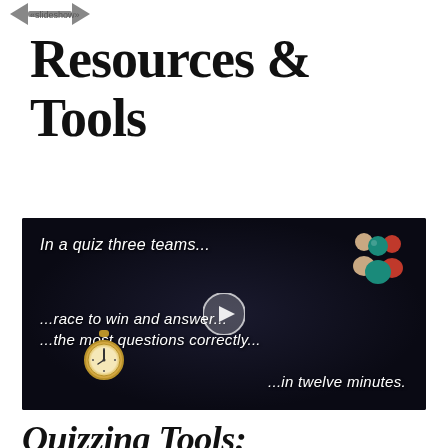Resources & Tools
[Figure (screenshot): Video thumbnail on dark background showing quiz game description: 'In a quiz three teams... ...race to win and answer... ...the most questions correctly... ...in twelve minutes.' with people icons on the right, a pocket watch at the bottom left, and a play button in the center.]
Quizzing Tools: